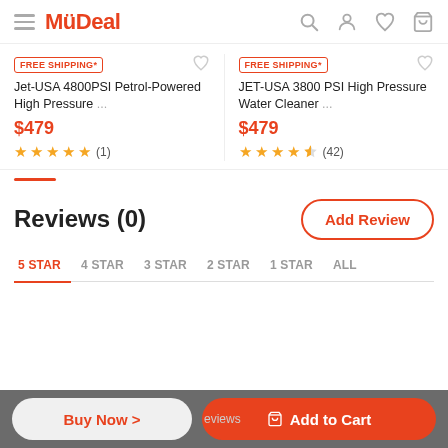MyDeal
FREE SHIPPING* Jet-USA 4800PSI Petrol-Powered High Pressure ... $479 ★★★★★ (1)
FREE SHIPPING* JET-USA 3800 PSI High Pressure Water Cleaner ... $479 ★★★★½ (42)
Reviews (0)
Add Review
5 STAR
4 STAR
3 STAR
2 STAR
1 STAR
ALL
Buy Now > eviews  Add to Cart